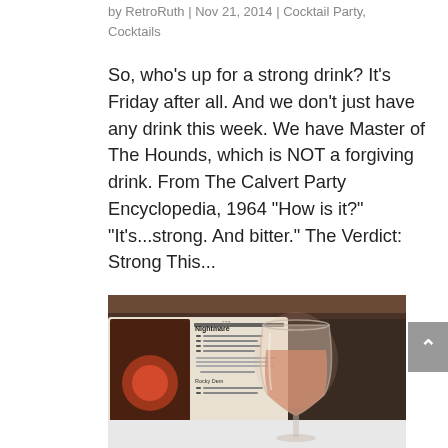by RetroRuth | Nov 21, 2014 | Cocktail Party, Cocktails
So, who’s up for a strong drink? It’s Friday after all. And we don’t just have any drink this week. We have Master of The Hounds, which is NOT a forgiving drink. From The Calvert Party Encyclopedia, 1964 “How is it?” “It’s…strong. And bitter.” The Verdict: Strong This…
[Figure (photo): A wine glass containing a pinkish-orange cocktail, placed on top of an open cocktail recipe book showing a page for 'Nightmare' recipe, with a dark wood background.]